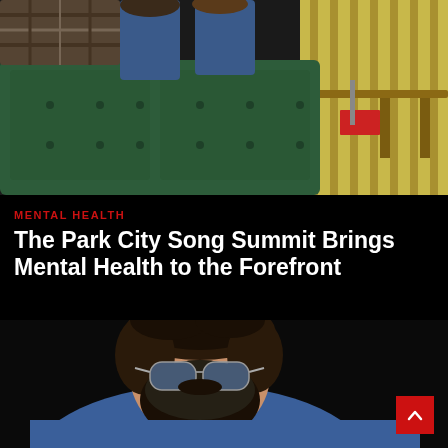[Figure (photo): Photo of a person sitting/lounging on a green tufted velvet couch wearing jeans and patterned shoes, with a yellow striped background and wooden furniture visible]
MENTAL HEALTH
The Park City Song Summit Brings Mental Health to the Forefront
[Figure (photo): Close-up photo of a bearded man with long dark hair wearing aviator sunglasses and a blue shirt, dark background]